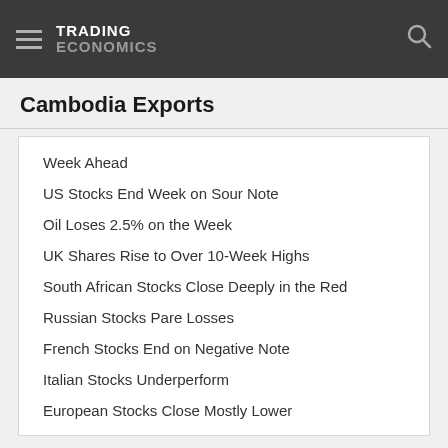TRADING ECONOMICS
Cambodia Exports
Week Ahead
US Stocks End Week on Sour Note
Oil Loses 2.5% on the Week
UK Shares Rise to Over 10-Week Highs
South African Stocks Close Deeply in the Red
Russian Stocks Pare Losses
French Stocks End on Negative Note
Italian Stocks Underperform
European Stocks Close Mostly Lower
Spanish Shares Fall to 1 ½ Weeks Lows